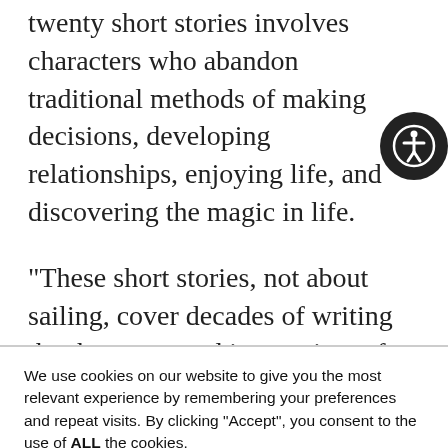twenty short stories involves characters who abandon traditional methods of making decisions, developing relationships, enjoying life, and discovering the magic in life.
“These short stories, not about sailing, cover decades of writing that has appeared in a variety of magazines and anthologies,” says Blue. “Most reflect my continued interest in magic realism and fantasy.”
We use cookies on our website to give you the most relevant experience by remembering your preferences and repeat visits. By clicking “Accept”, you consent to the use of ALL the cookies.